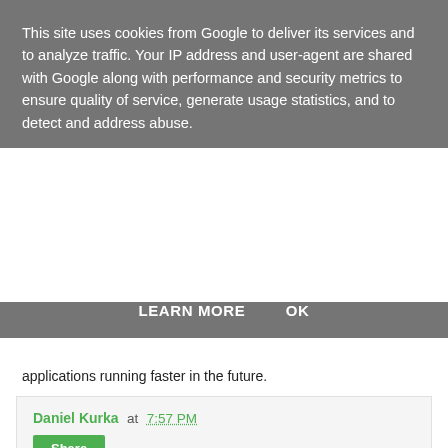This site uses cookies from Google to deliver its services and to analyze traffic. Your IP address and user-agent are shared with Google along with performance and security metrics to ensure quality of service, generate usage statistics, and to detect and address abuse.
LEARN MORE   OK
applications running faster in the future.
Daniel Kurka at 7:57 PM
Share
311 comments:
Unknown  May 19, 2015 at 11:34 AM
This comment has been removed by the author.
Reply